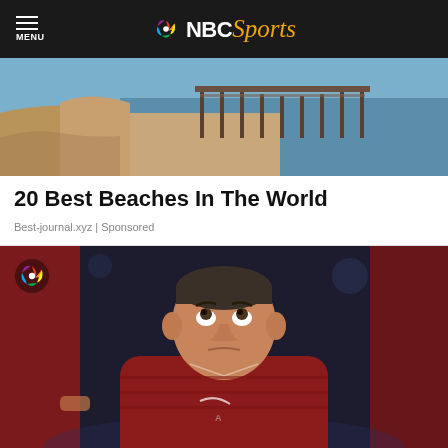MENU | NBC Sports
[Figure (photo): Beach scene with sandy shoreline, wooden pier/dock structure, and blue ocean water in the background]
20 Best Beaches In The World
Best-journal.xyz | Sponsored
[Figure (photo): Arkansas Razorbacks basketball coach in red polo shirt looking upward, surrounded by players in red uniforms, with NBC Sports peacock logo watermark in top left corner]